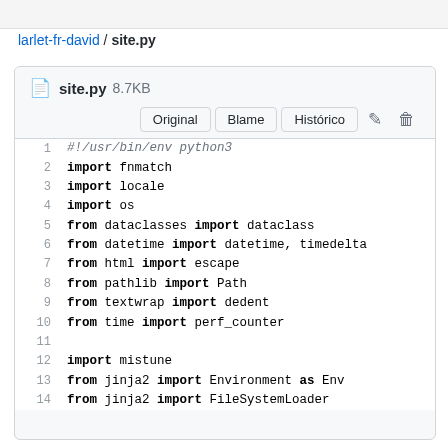larlet-fr-david / site.py
[Figure (screenshot): Code viewer showing site.py (8.7KB) with toolbar buttons Original, Blame, Histórico, edit and delete icons. Code lines 1-14 of a Python file are shown with syntax highlighting.]